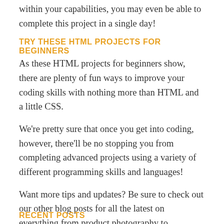within your capabilities, you may even be able to complete this project in a single day!
TRY THESE HTML PROJECTS FOR BEGINNERS
As these HTML projects for beginners show, there are plenty of fun ways to improve your coding skills with nothing more than HTML and a little CSS.
We're pretty sure that once you get into coding, however, there'll be no stopping you from completing advanced projects using a variety of different programming skills and languages!
Want more tips and updates? Be sure to check out our other blog posts for all the latest on everything from product photography to cryptocurrency!
RECENT POSTS